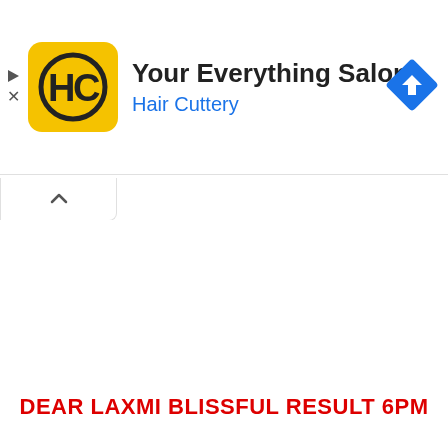[Figure (logo): Hair Cuttery advertisement banner with yellow HC logo, title 'Your Everything Salon', subtitle 'Hair Cuttery' in blue, and a blue navigation diamond icon on the right]
DEAR LAXMI BLISSFUL RESULT 6PM